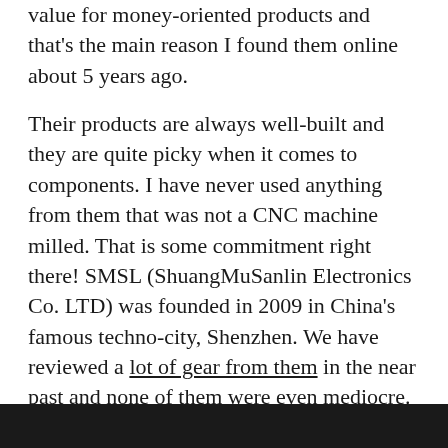value for money-oriented products and that's the main reason I found them online about 5 years ago.

Their products are always well-built and they are quite picky when it comes to components. I have never used anything from them that was not a CNC machine milled. That is some commitment right there! SMSL (ShuangMuSanlin Electronics Co. LTD) was founded in 2009 in China's famous techno-city, Shenzhen. We have reviewed a lot of gear from them in the near past and none of them were even mediocre. I can honestly say that they are on a winning streak and I hope that they continue designing brilliant devices. Today we'll be reviewing their latest DAC & AMP, the SU-8s & the SH-8s. They are a really good stack for the price and you will know why we gave them an award soon enough.